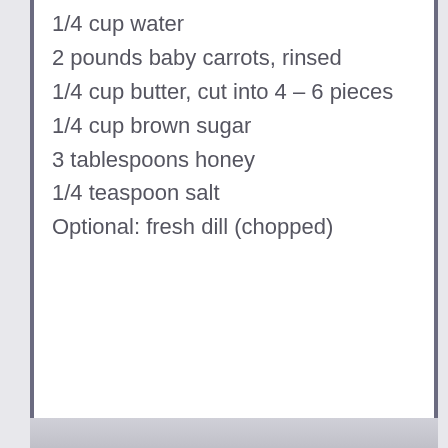1/4 cup water
2 pounds baby carrots, rinsed
1/4 cup butter, cut into 4 – 6 pieces
1/4 cup brown sugar
3 tablespoons honey
1/4 teaspoon salt
Optional: fresh dill (chopped)